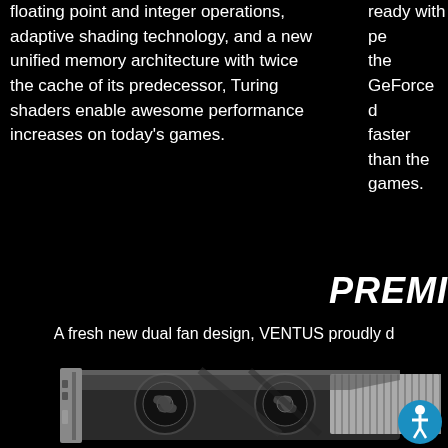floating point and integer operations, adaptive shading technology, and a new unified memory architecture with twice the cache of its predecessor, Turing shaders enable awesome performance increases on today's games.
ready with pe... the GeForce d... faster than the... games.
PREMI...
A fresh new dual fan design, VENTUS proudly d...
[Figure (photo): GPU graphics card (MSI VENTUS) shown from front angle, with dual fans visible, dark/black background, partially cropped at bottom of page. Blue accessibility icon button in lower right corner.]